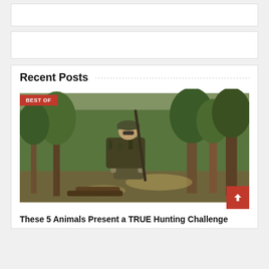[Figure (other): Advertisement banner placeholder box (top)]
[Figure (other): Advertisement banner placeholder box (middle)]
Recent Posts
[Figure (photo): Photo of a hunter in camouflage with a backpack and rifle walking through a pine forest. A red 'BEST OF' badge is overlaid in the top-left corner. A red scroll-to-top button with an upward arrow is in the bottom-right corner.]
These 5 Animals Present a TRUE Hunting Challenge